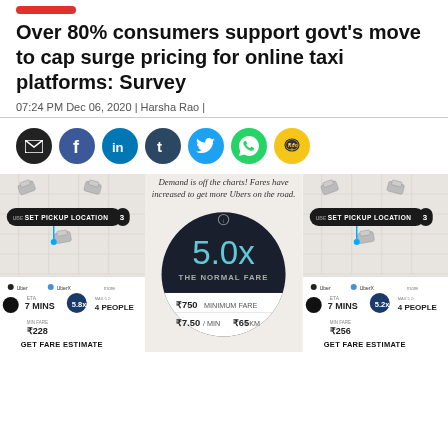Over 80% consumers support govt's move to cap surge pricing for online taxi platforms: Survey
07:24 PM Dec 06, 2020 | Harsha Rao |
[Figure (infographic): Social share buttons: email, Facebook, LinkedIn, Tumblr, Twitter, WhatsApp, Koo]
[Figure (infographic): Three-panel infographic showing Uber surge pricing screens. Left panel: Uber app map with SET PICKUP LOCATION, ETA 7 MINS, 5.8x multiplier, MAX 52 4 PEOPLE, MIN FARE ₹228, GET FARE ESTIMATE. Center panel: dark circle showing 5.0x THE NORMAL FARE, ₹750 MINIMUM FARE, ₹7.50/MIN ₹65/KM, with text 'Demand is off the charts! Fares have increased to get more Ubers on the road.' Right panel: similar map with SET PICKUP LOCATION, ETA 7 MINS, 5.2x multiplier, MAX 52 4 PEOPLE, MIN FARE ₹256, GET FARE ESTIMATE.]